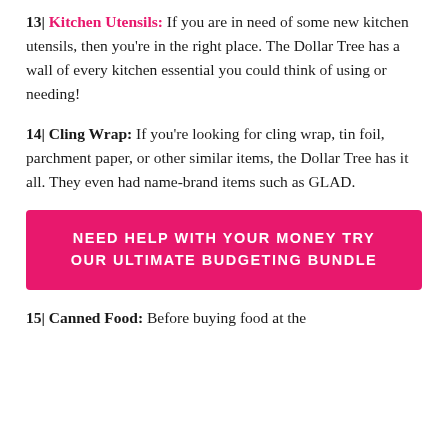13| Kitchen Utensils: If you are in need of some new kitchen utensils, then you're in the right place. The Dollar Tree has a wall of every kitchen essential you could think of using or needing!
14| Cling Wrap: If you're looking for cling wrap, tin foil, parchment paper, or other similar items, the Dollar Tree has it all. They even had name-brand items such as GLAD.
[Figure (infographic): Pink banner with white uppercase text: NEED HELP WITH YOUR MONEY TRY OUR ULTIMATE BUDGETING BUNDLE]
15| Canned Food: Before buying food at the